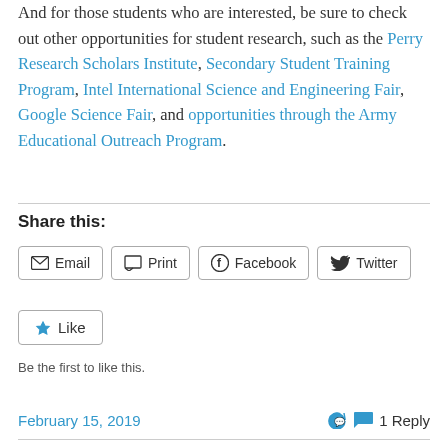And for those students who are interested, be sure to check out other opportunities for student research, such as the Perry Research Scholars Institute, Secondary Student Training Program, Intel International Science and Engineering Fair, Google Science Fair, and opportunities through the Army Educational Outreach Program.
Share this:
Email  Print  Facebook  Twitter
Like
Be the first to like this.
February 15, 2019    1 Reply